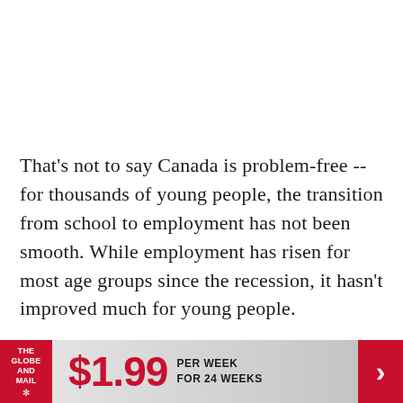That's not to say Canada is problem-free -- for thousands of young people, the transition from school to employment has not been smooth. While employment has risen for most age groups since the recession, it hasn't improved much for young people.
If there is one demographic of chief concern, it is young men. Men between 15 and 24 were
[Figure (other): The Globe and Mail advertisement banner: logo on red background on left, '$1.99' in large red text, 'PER WEEK FOR 24 WEEKS' text, red arrow button on right]